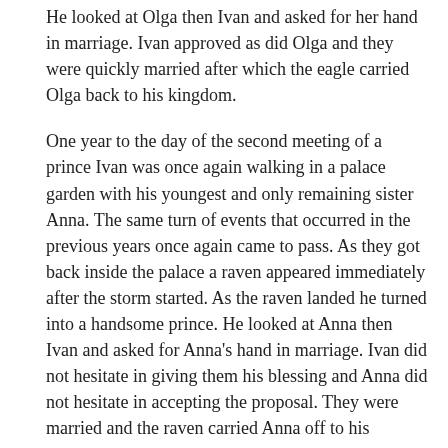He looked at Olga then Ivan and asked for her hand in marriage. Ivan approved as did Olga and they were quickly married after which the eagle carried Olga back to his kingdom.
One year to the day of the second meeting of a prince Ivan was once again walking in a palace garden with his youngest and only remaining sister Anna. The same turn of events that occurred in the previous years once again came to pass. As they got back inside the palace a raven appeared immediately after the storm started. As the raven landed he turned into a handsome prince. He looked at Anna then Ivan and asked for Anna's hand in marriage. Ivan did not hesitate in giving them his blessing and Anna did not hesitate in accepting the proposal. They were married and the raven carried Anna off to his kingdom.
Tsar Ivan now lived alone in his immense palace lonely and without a family to look after. He missed his sisters so much that one day he told his princes and boyars that he was leaving the kingdom in their care and that he was leaving the kingdom for an indefinite period of time.
He mounted his horse and rode off. He rode up to a field of